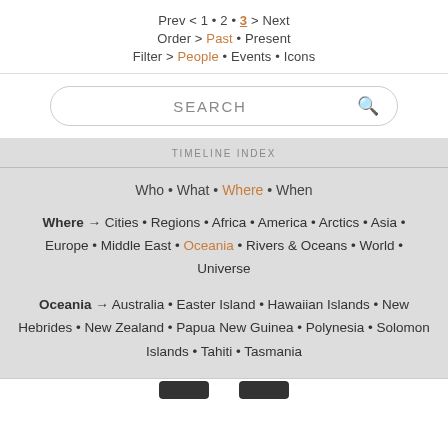Prev < 1 • 2 • 3 > Next
Order > Past • Present
Filter > People • Events • Icons
SEARCH
TIMELINE INDEX
Who • What • Where • When
Where → Cities • Regions • Africa • America • Arctics • Asia • Europe • Middle East • Oceania • Rivers & Oceans • World • Universe
Oceania → Australia • Easter Island • Hawaiian Islands • New Hebrides • New Zealand • Papua New Guinea • Polynesia • Solomon Islands • Tahiti • Tasmania